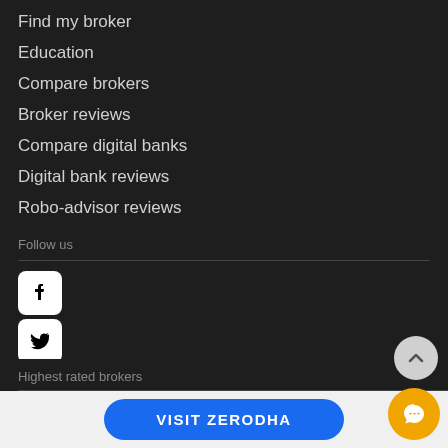Find my broker
Education
Compare brokers
Broker reviews
Compare digital banks
Digital bank reviews
Robo-advisor reviews
Follow us
[Figure (other): Social media icons: Facebook, Twitter, LinkedIn, YouTube]
Highest rated brokers
VISIT ZERODHA